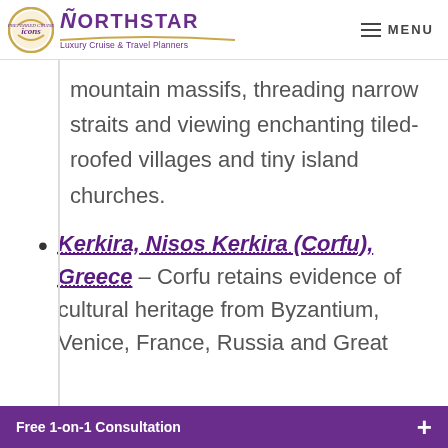NORTHSTAR Luxury Cruise & Travel Planners — MENU
mountain massifs, threading narrow straits and viewing enchanting tiled-roofed villages and tiny island churches.
Kerkira, Nisos Kerkira (Corfu), Greece – Corfu retains evidence of cultural heritage from Byzantium, Venice, France, Russia and Great
Free 1-on-1 Consultation +